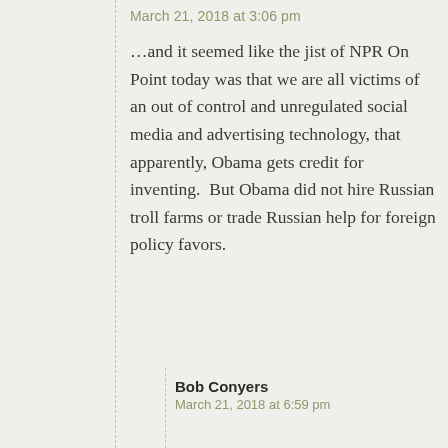March 21, 2018 at 3:06 pm
…and it seemed like the jist of NPR On Point today was that we are all victims of an out of control and unregulated social media and advertising technology, that apparently, Obama gets credit for inventing.  But Obama did not hire Russian troll farms or trade Russian help for foreign policy favors.
Bob Conyers
March 21, 2018 at 6:59 pm